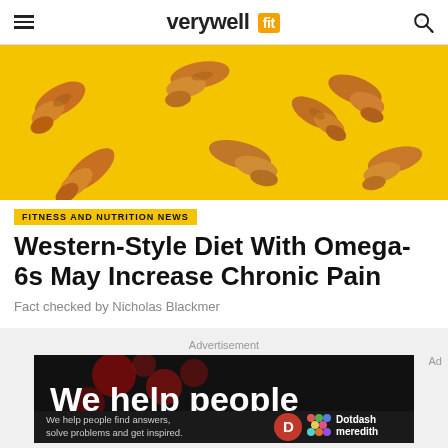verywell fit
[Figure (photo): Chicken wings or drumsticks arranged on a bright yellow background, overhead view]
FITNESS AND NUTRITION NEWS
Western-Style Diet With Omega-6s May Increase Chronic Pain
Fact checked by Nicholas Blackmer
Advertisement
[Figure (photo): Advertisement for Dotdash Meredith: dark background with red dots, text 'We help people' large, and bottom bar with 'We help people find answers, solve problems and get inspired.' with Dotdash Meredith logo]